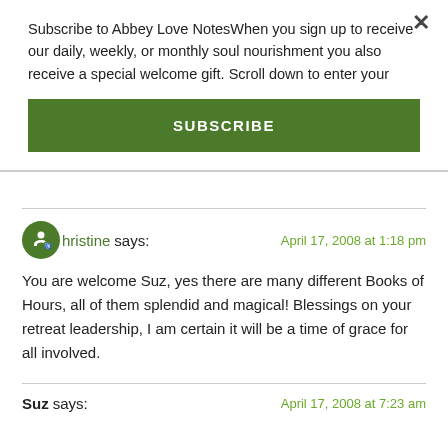Subscribe to Abbey Love NotesWhen you sign up to receive our daily, weekly, or monthly soul nourishment you also receive a special welcome gift. Scroll down to enter your
SUBSCRIBE
christine says: April 17, 2008 at 1:18 pm
You are welcome Suz, yes there are many different Books of Hours, all of them splendid and magical! Blessings on your retreat leadership, I am certain it will be a time of grace for all involved.
Suz says: April 17, 2008 at 7:23 am